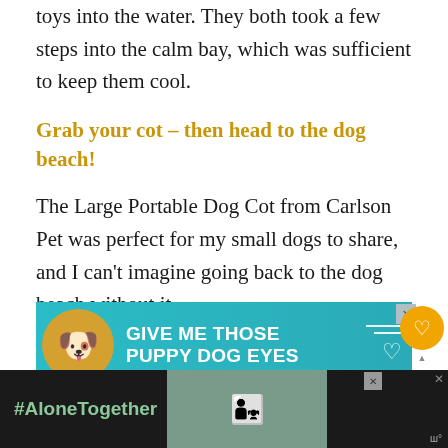toys into the water. They both took a few steps into the calm bay, which was sufficient to keep them cool.
Grab your cot – then head to the dog beach!
The Large Portable Dog Cot from Carlson Pet was perfect for my small dogs to share, and I can't imagine going back to the dog beach without it.
[Figure (infographic): Teal advertisement banner reading GIVE ME THOSE PUPPY DOG EYES with a dog graphic and heart outline]
[Figure (infographic): Bottom dark banner advertisement with #AloneTogether text in green and a photo of people]